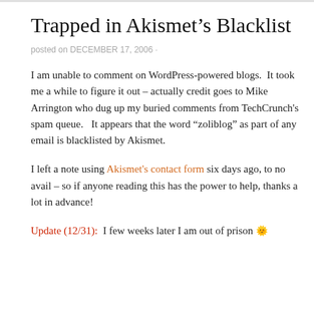Trapped in Akismet’s Blacklist
posted on DECEMBER 17, 2006 ·
I am unable to comment on WordPress-powered blogs.  It took me a while to figure it out – actually credit goes to Mike Arrington who dug up my buried comments from TechCrunch’s spam queue.   It appears that the word “zoliblog” as part of any email is blacklisted by Akismet.
I left a note using Akismet’s contact form six days ago, to no avail – so if anyone reading this has the power to help, thanks a lot in advance!
Update (12/31):  I few weeks later I am out of prison 😊